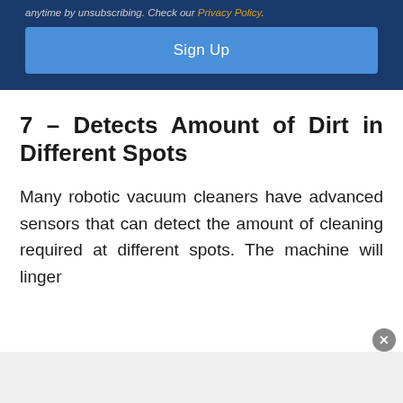anytime by unsubscribing. Check our Privacy Policy.
Sign Up
7 – Detects Amount of Dirt in Different Spots
Many robotic vacuum cleaners have advanced sensors that can detect the amount of cleaning required at different spots. The machine will linger